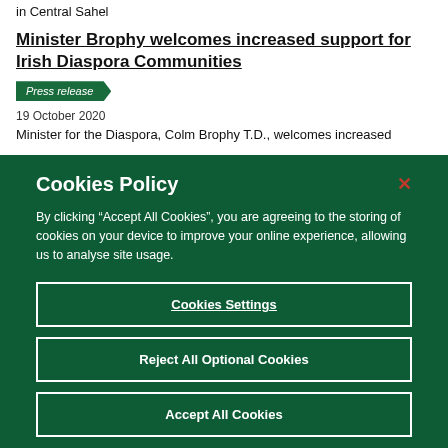in Central Sahel
Minister Brophy welcomes increased support for Irish Diaspora Communities
Press release
19 October 2020
Minister for the Diaspora, Colm Brophy T.D., welcomes increased
Cookies Policy
By clicking “Accept All Cookies”, you are agreeing to the storing of cookies on your device to improve your online experience, allowing us to analyse site usage.
Cookies Settings
Reject All Optional Cookies
Accept All Cookies